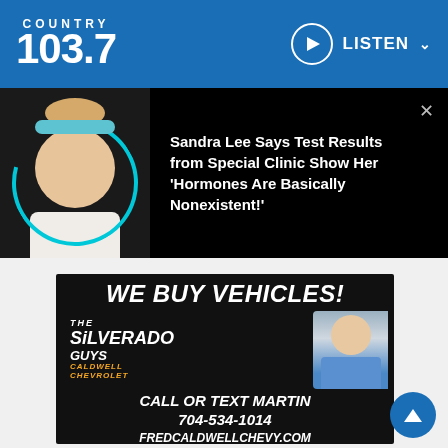COUNTRY 103.7  LISTEN
[Figure (photo): Article notification card showing a woman's photo on black background with headline text]
Sandra Lee Says Test Results from Special Clinic Show Her 'Hormones Are Basically Nonexistent!'
[Figure (infographic): Caldwell Chevrolet advertisement: WE BUY VEHICLES! The Silverado Guys Caldwell Chevrolet logo with truck and American flag, man in blue shirt, CALL OR TEXT MARTIN 704-534-1014 FREDCALDWELLCHEVY.COM]